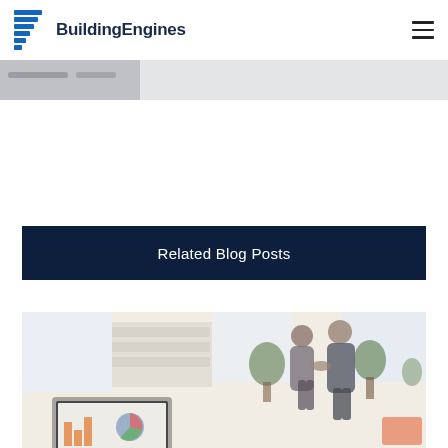BuildingEngines
[Figure (photo): Partial cropped image strip at top of page, gray background]
Related Blog Posts
[Figure (photo): Office scene with two people shaking hands in background, laptop with charts in foreground, blurred interior with plants and white shelving]